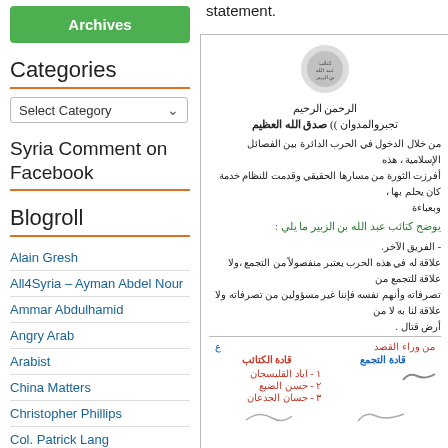[Figure (screenshot): Green Archives button]
Categories
[Figure (screenshot): Select Category dropdown]
Syria Comment on Facebook
Blogroll
Alain Gresh
All4Syria – Ayman Abdel Nour
Ammar Abdulhamid
Angry Arab
Arabist
China Matters
Christopher Phillips
Col. Patrick Lang
Creative Syria
Dreyfuss Report
Enduring America – Lucas et. al.
Focus on Syria (humanitarian)
statement.
[Figure (photo): Scanned Arabic document with logo, Arabic text in black and green, signatures and names in red and blue at the bottom. Contains signatories: 1. اياد القليسجان, 2. حسن الضبع, 3. حسان الجدعان]